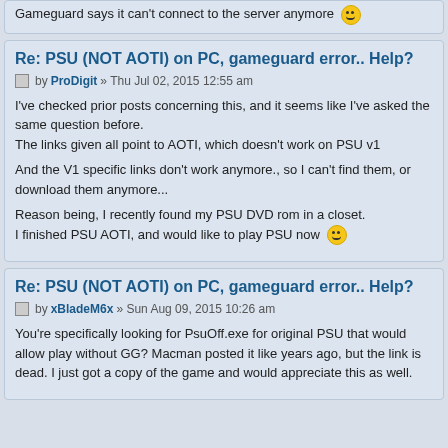Gameguard says it can't connect to the server anymore
Re: PSU (NOT AOTI) on PC, gameguard error.. Help?
by ProDigit » Thu Jul 02, 2015 12:55 am
I've checked prior posts concerning this, and it seems like I've asked the same question before.
The links given all point to AOTI, which doesn't work on PSU v1

And the V1 specific links don't work anymore., so I can't find them, or download them anymore...

Reason being, I recently found my PSU DVD rom in a closet.
I finished PSU AOTI, and would like to play PSU now
Re: PSU (NOT AOTI) on PC, gameguard error.. Help?
by xBladeM6x » Sun Aug 09, 2015 10:26 am
You're specifically looking for PsuOff.exe for original PSU that would allow play without GG? Macman posted it like years ago, but the link is dead. I just got a copy of the game and would appreciate this as well.